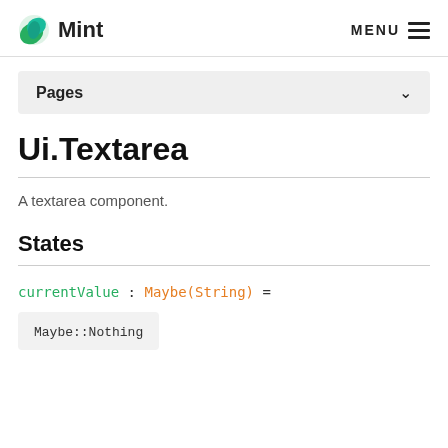Mint — MENU
Pages
Ui.Textarea
A textarea component.
States
currentValue : Maybe(String) =
Maybe::Nothing